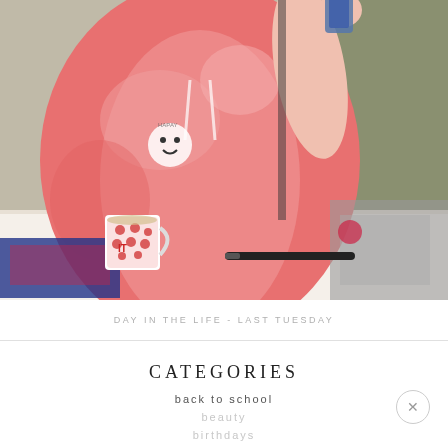[Figure (photo): Mirror selfie of a person wearing a pink tie-dye hoodie with a smiley face logo, holding a phone, standing at a white desk with a red patterned mug, a marker, and a colorful notebook visible. Green wall and grey fabric in background.]
DAY IN THE LIFE - LAST TUESDAY
CATEGORIES
back to school
beauty
birthdays
christmas